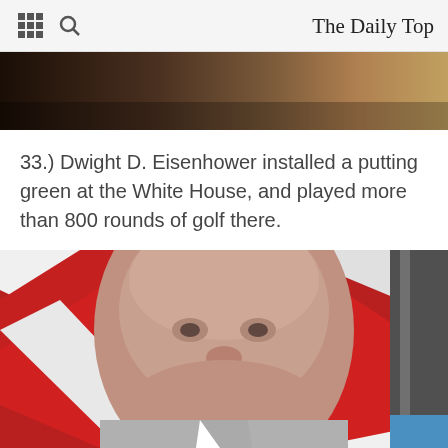The Daily Top
[Figure (photo): Partial photo visible at top of page, dark/brown tones, appears to be a person]
33.) Dwight D. Eisenhower installed a putting green at the White House, and played more than 800 rounds of golf there.
[Figure (photo): Portrait photo of Dwight D. Eisenhower smiling, with an American flag (red and white stripes) visible in the background]